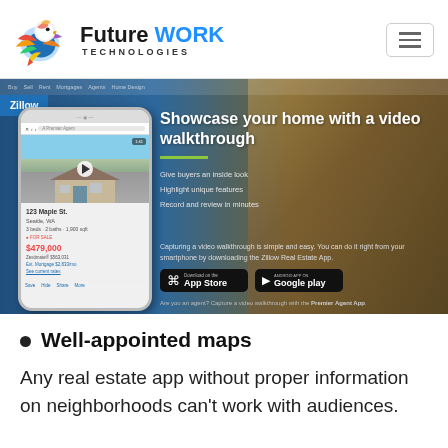[Figure (logo): Future Work Technologies logo with colorful bird mascot]
[Figure (screenshot): Zillow app screenshot showing video walkthrough feature with phone mockup, headline 'Showcase your home with a video walkthrough', app store download buttons]
Well-appointed maps
Any real estate app without proper information on neighborhoods can't work with audiences.